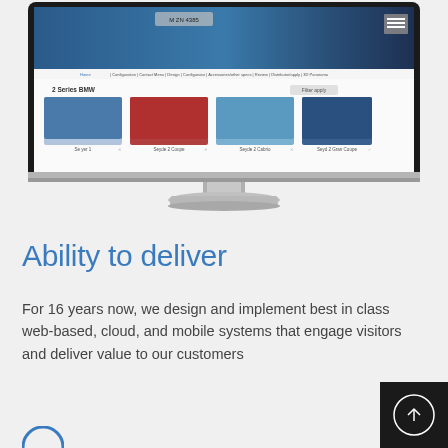[Figure (screenshot): Screenshot of a BMW vehicle selection website displayed on a desktop iMac monitor. The screen shows a BMW website with a blue BMW car hero image at top, navigation menu, and a grid of 4 BMW car models (Series 1, Series 2 Coupe, Series 2 Cabrio, Series 2 Gran Coupe) displayed below.]
Ability to deliver
For 16 years now, we design and implement best in class web-based, cloud, and mobile systems that engage visitors and deliver value to our customers